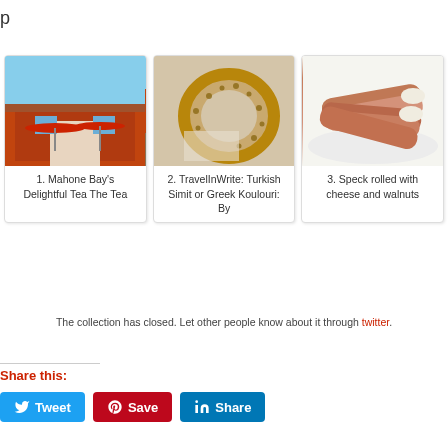p
[Figure (photo): Photo of a building with red umbrellas outside - Mahone Bay's Delightful Tea]
1. Mahone Bay’s Delightful Tea The Tea
[Figure (photo): Photo of a Turkish Simit or Greek Koulouri bread ring covered in sesame seeds]
2. TravelInWrite: Turkish Simit or Greek Koulouri: By
[Figure (photo): Photo of speck rolled with cheese and walnuts on a white plate]
3. Speck rolled with cheese and walnuts
The collection has closed. Let other people know about it through twitter.
Share this:
Tweet
Save
Share